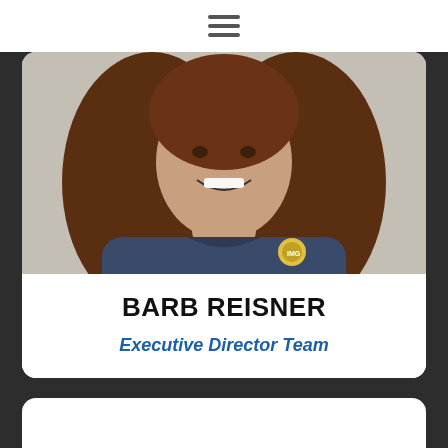[Figure (photo): Photo of Barb Reisner, a woman with long brown hair, smiling, wearing a dark navy blue t-shirt with a logo on the right chest.]
BARB REISNER
Executive Director Team
[Figure (other): Empty white card at the bottom of the page, partially visible.]